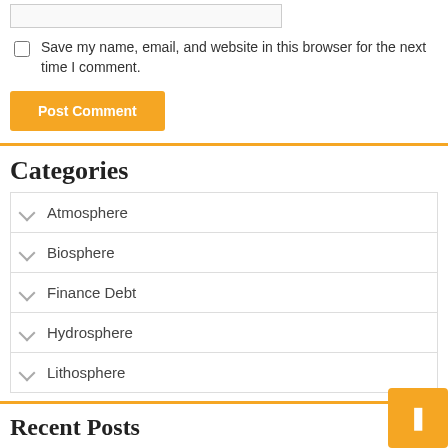[Figure (other): Text input box (form field)]
Save my name, email, and website in this browser for the next time I comment.
Post Comment
Categories
Atmosphere
Biosphere
Finance Debt
Hydrosphere
Lithosphere
Recent Posts
The Top-Rated Brunch Restaurants in Albuquerque, According to Tripadvisor